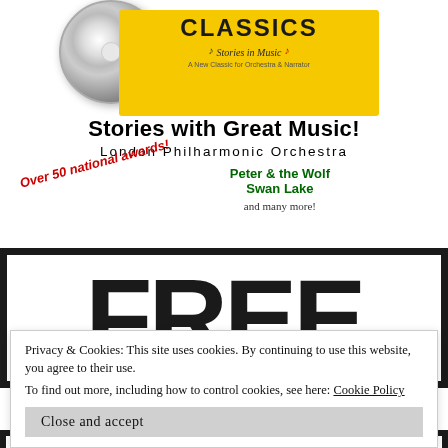[Figure (illustration): CD disc and yellow product box with 'CLASSICS' header and 'Stories in Music' subtitle]
Stories with Great Music!
London Philharmonic Orchestra
Over 50 national awards! Peter & the Wolf Swan Lake and many more!
[Figure (other): FREE text in large bold letters inside a thick black border box]
Privacy & Cookies: This site uses cookies. By continuing to use this website, you agree to their use. To find out more, including how to control cookies, see here: Cookie Policy
Close and accept
HOMESCHOOL!